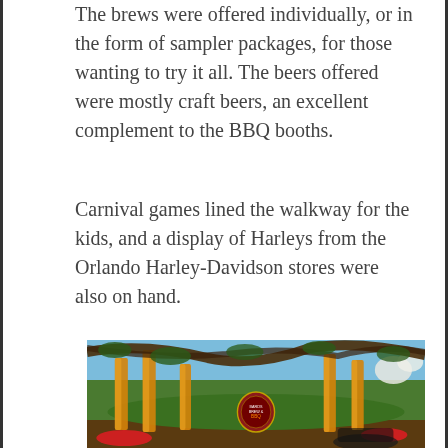The brews were offered individually, or in the form of sampler packages, for those wanting to try it all. The beers offered were mostly craft beers, an excellent complement to the BBQ booths.
Carnival games lined the walkway for the kids, and a display of Harleys from the Orlando Harley-Davidson stores were also on hand.
[Figure (photo): Outdoor event scene with tall orange feather/banner flags on a lawn, large oak tree branch overhead, a circular BBQ event sign in the center background, palm trees, flowers, and a motorcycle visible in the foreground.]